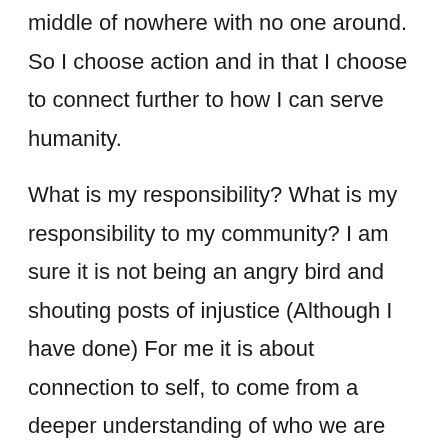middle of nowhere with no one around. So I choose action and in that I choose to connect further to how I can serve humanity.

What is my responsibility? What is my responsibility to my community? I am sure it is not being an angry bird and shouting posts of injustice (Although I have done) For me it is about connection to self, to come from a deeper understanding of who we are and what we are doing on this planet. Choosing what we want our lives to look like and taking action in doing so. If we are not taking the small steps towards ourselves and the community what hope do we have do rise in